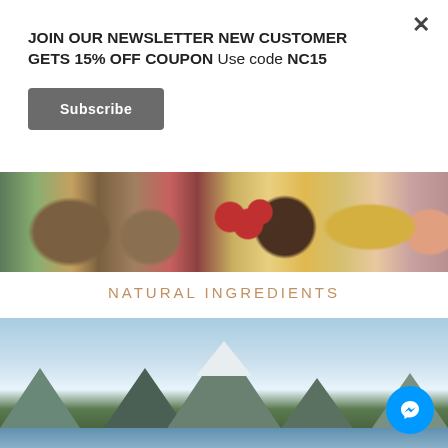JOIN OUR NEWSLETTER NEW CUSTOMER GETS 15% OFF COUPON Use code NC15
Subscribe
[Figure (photo): Banner photo of various spices and natural ingredients including star anise, nutmeg, red berries, and yellow mineral rocks on a dark surface]
NATURAL INGREDIENTS
[Figure (photo): Scenic landscape photo of snow-capped mountains (Milford Sound / Fiordland, New Zealand) with a fjord or lake in the foreground and a clear blue sky with light clouds]